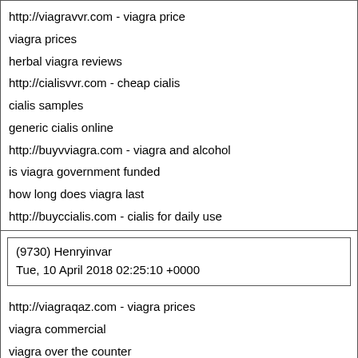http://viagravvr.com - viagra price
viagra prices
herbal viagra reviews
http://cialisvvr.com - cheap cialis
cialis samples
generic cialis online
http://buyvviagra.com - viagra and alcohol
is viagra government funded
how long does viagra last
http://buyccialis.com - cialis for daily use
cialis over the counter 2017
how long does it take for cialis to work
(9730) Henryinvar
Tue, 10 April 2018 02:25:10 +0000
http://viagraqaz.com - viagra prices
viagra commercial
viagra over the counter
http://cialisqaz.com - cialis commercial
cialis price
buy cialis online safely
http://viagravvr.com - best place to buy generic viagra online